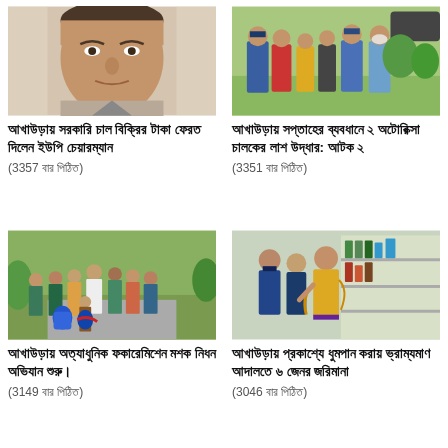[Figure (photo): Close-up face photo of a middle-aged man]
আখাউড়ায় সরকারি চাল বিক্রির টাকা ফেরত দিলেন ইউপি চেয়ারম্যান
(3357 বার পিঠিত)
[Figure (photo): Group of people including police officer in blue uniform standing outside]
আখাউড়ায় সপ্তাহের ব্যবধানে ২ অটোরিক্সা চালকের লাশ উদ্ধার: আটক ২
(3351 বার পিঠিত)
[Figure (photo): Group of people outdoors with blue water containers]
আখাউড়ায় অত্যাধুনিক ফকারেমিশেন মশক নিধন অভিযান শুরু।
(3149 বার পিঠিত)
[Figure (photo): Police officers and a woman in yellow/orange saree inside a shop]
আখাউড়ায় প্রকাশ্যে ধুমপান করায় ভ্রাম্যমাণ আদালতে ৬ জেনর জরিমানা
(3046 বার পিঠিত)